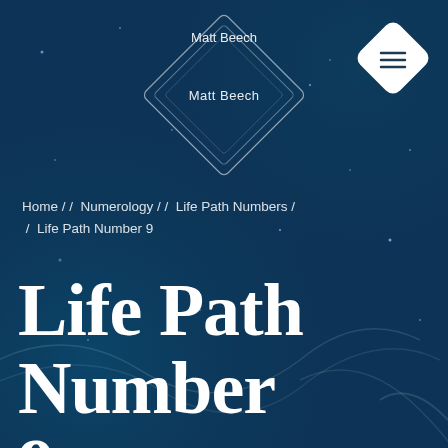[Figure (illustration): Dark teal/navy background with decorative geometric diamond logo outline containing text 'Matt Beech', a white filled diamond menu icon in top right, faint star dots scattered across background, and subtle white swirl/wave decorative lines in lower portion]
Matt Beech
Home / / Numerology / / Life Path Numbers / / Life Path Number 9
Life Path Number 9